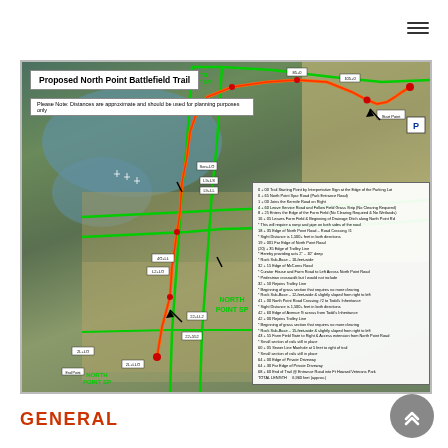[Figure (map): Proposed North Point Battlefield Trail aerial map showing trail route with green outline paths and red/orange trail line, distance markers, parking area, and multiple North Point State Park labels. Includes a legend box with distance stations and trail notes.]
GENERAL